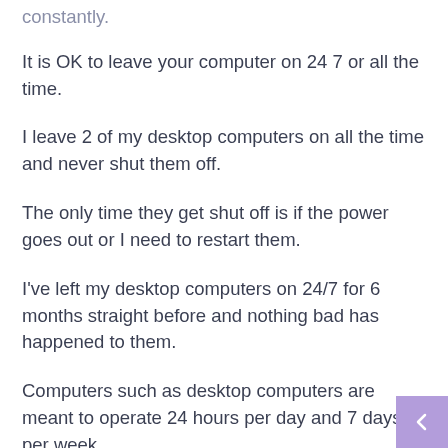constantly.
It is OK to leave your computer on 24 7 or all the time.
I leave 2 of my desktop computers on all the time and never shut them off.
The only time they get shut off is if the power goes out or I need to restart them.
I've left my desktop computers on 24/7 for 6 months straight before and nothing bad has happened to them.
Computers such as desktop computers are meant to operate 24 hours per day and 7 days per week.
Actually shutting the computer off and turning it back on constantly can shorten the life of the computer.